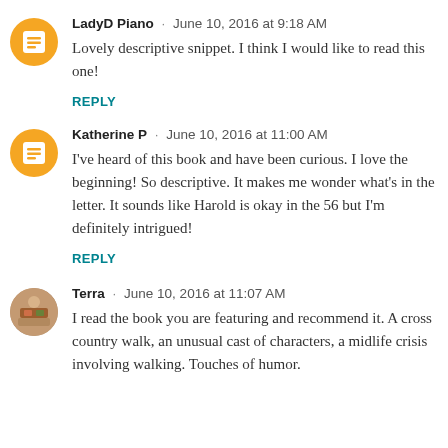LadyD Piano · June 10, 2016 at 9:18 AM
Lovely descriptive snippet. I think I would like to read this one!
REPLY
Katherine P · June 10, 2016 at 11:00 AM
I've heard of this book and have been curious. I love the beginning! So descriptive. It makes me wonder what's in the letter. It sounds like Harold is okay in the 56 but I'm definitely intrigued!
REPLY
Terra · June 10, 2016 at 11:07 AM
I read the book you are featuring and recommend it. A cross country walk, an unusual cast of characters, a midlife crisis involving walking. Touches of humor.